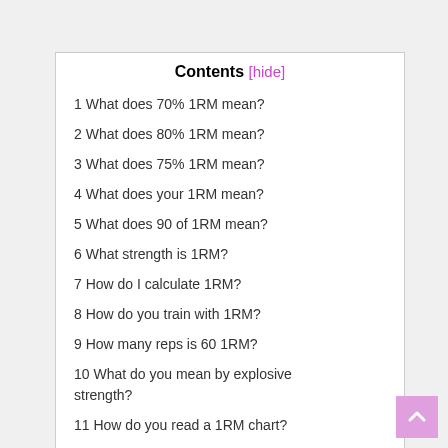Contents [hide]
1 What does 70% 1RM mean?
2 What does 80% 1RM mean?
3 What does 75% 1RM mean?
4 What does your 1RM mean?
5 What does 90 of 1RM mean?
6 What strength is 1RM?
7 How do I calculate 1RM?
8 How do you train with 1RM?
9 How many reps is 60 1RM?
10 What do you mean by explosive strength?
11 How do you read a 1RM chart?
12 What fitness component is squats?